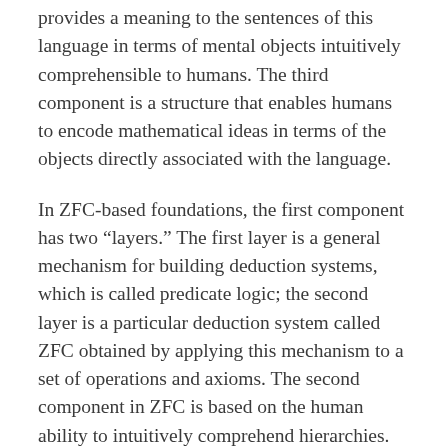provides a meaning to the sentences of this language in terms of mental objects intuitively comprehensible to humans. The third component is a structure that enables humans to encode mathematical ideas in terms of the objects directly associated with the language.
In ZFC-based foundations, the first component has two “layers.” The first layer is a general mechanism for building deduction systems, which is called predicate logic; the second layer is a particular deduction system called ZFC obtained by applying this mechanism to a set of operations and axioms. The second component in ZFC is based on the human ability to intuitively comprehend hierarchies. In fact, the axioms of ZFC can be seen as a collection